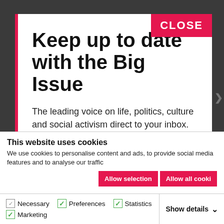Keep up to date with the Big Issue
The leading voice on life, politics, culture and social activism direct to your inbox.
This website uses cookies
We use cookies to personalise content and ads, to provide social media features and to analyse our traffic
Allow selection | Allow all cookies
Necessary  Preferences  Statistics  Marketing  Show details